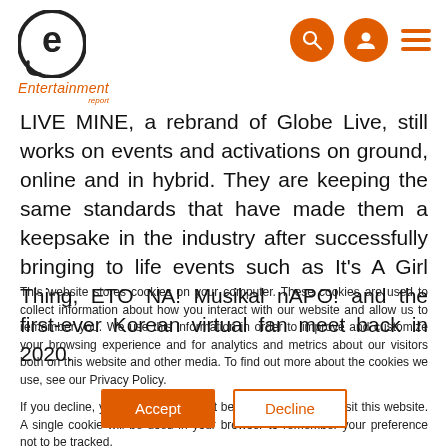Entertainment Report - logo and navigation icons
LIVE MINE, a rebrand of Globe Live, still works on events and activations on ground, online and in hybrid. They are keeping the same standards that have made them a keepsake in the industry after successfully bringing to life events such as It's A Girl Thing, ETO NA! Musikal nAPO! and the first-ever Korean virtual fan meet back in 2020.
This website stores cookies on your computer. These cookies are used to collect information about how you interact with our website and allow us to remember you. We use this information in order to improve and customize your browsing experience and for analytics and metrics about our visitors both on this website and other media. To find out more about the cookies we use, see our Privacy Policy.

If you decline, your information won't be tracked when you visit this website. A single cookie will be used in your browser to remember your preference not to be tracked.